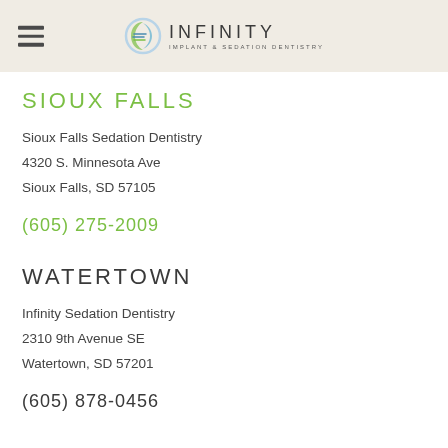Infinity Implant & Sedation Dentistry
SIOUX FALLS
Sioux Falls Sedation Dentistry
4320 S. Minnesota Ave
Sioux Falls, SD 57105
(605) 275-2009
WATERTOWN
Infinity Sedation Dentistry
2310 9th Avenue SE
Watertown, SD 57201
(605) 878-0456